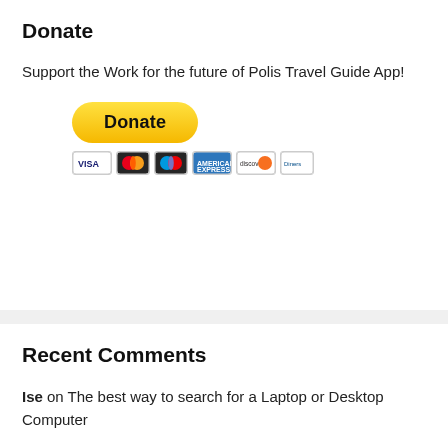Donate
Support the Work for the future of Polis Travel Guide App!
[Figure (other): PayPal Donate button with credit card icons (Visa, Mastercard, Maestro, Amex, Discover, Diners)]
Recent Comments
Ise on The best way to search for a Laptop or Desktop Computer